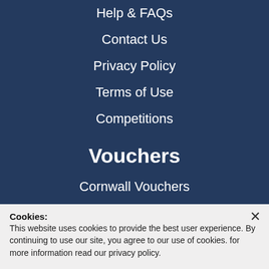Help & FAQs
Contact Us
Privacy Policy
Terms of Use
Competitions
Vouchers
Cornwall Vouchers
Restaurant vouchers
Attractions vouchers
Cookies: This website uses cookies to provide the best user experience. By continuing to use our site, you agree to our use of cookies. for more information read our privacy policy.